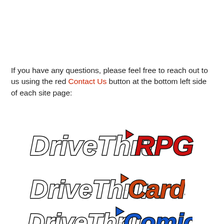If you have any questions, please feel free to reach out to us using the red Contact Us button at the bottom left side of each site page:
[Figure (logo): DriveThruRPG logo — stylized white italic script 'DriveThru' with a red play-button arrow, followed by bold red italic 'RPG', black outline throughout]
[Figure (logo): DriveThruCards logo — stylized white italic script 'DriveThru' with a red/orange play-button arrow, followed by bold orange-red italic 'Cards', black outline throughout]
[Figure (logo): DriveThruComics logo — stylized white italic script 'DriveThru' with a blue play-button arrow, followed by bold blue italic 'Comics', black outline throughout]